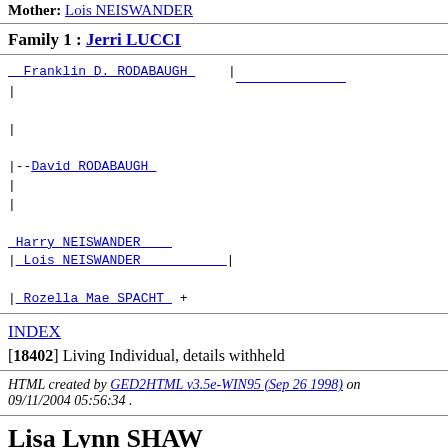Mother: Lois NEISWANDER
Family 1 : Jerri LUCCI
[Figure (other): Genealogy fan/tree diagram showing Franklin D. RODABAUGH, David RODABAUGH, Lois NEISWANDER, Harry NEISWANDER, Rozella Mae SPACHT]
INDEX
[18402] Living Individual, details withheld
HTML created by GED2HTML v3.5e-WIN95 (Sep 26 1998) on 09/11/2004 05:56:34 .
Lisa Lynn SHAW
[33911]